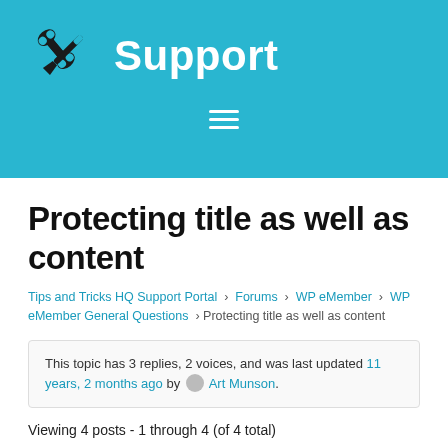Support
Protecting title as well as content
Tips and Tricks HQ Support Portal › Forums › WP eMember › WP eMember General Questions › Protecting title as well as content
This topic has 3 replies, 2 voices, and was last updated 11 years, 2 months ago by Art Munson.
Viewing 4 posts - 1 through 4 (of 4 total)